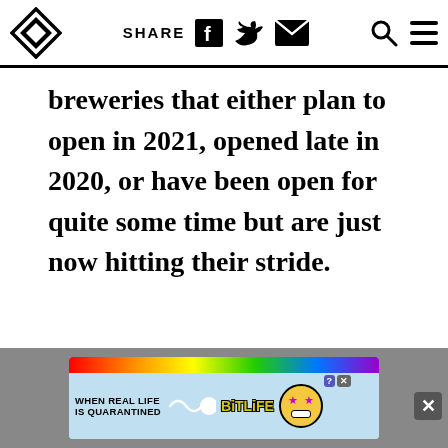SHARE
breweries that either plan to open in 2021, opened late in 2020, or have been open for quite some time but are just now hitting their stride.
[Figure (other): BitLife advertisement banner: 'WHEN REAL LIFE IS QUARANTINED' with BitLife logo and emoji characters on colorful rainbow background]